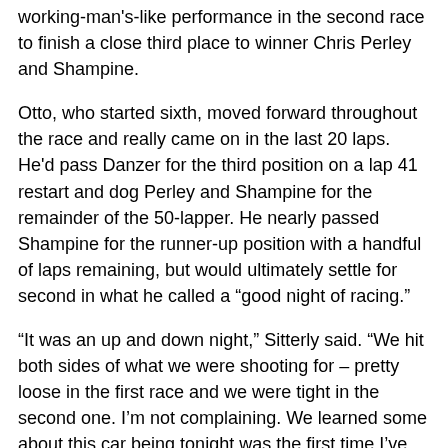working-man's-like performance in the second race to finish a close third place to winner Chris Perley and Shampine.
Otto, who started sixth, moved forward throughout the race and really came on in the last 20 laps. He'd pass Danzer for the third position on a lap 41 restart and dog Perley and Shampine for the remainder of the 50-lapper. He nearly passed Shampine for the runner-up position with a handful of laps remaining, but would ultimately settle for second in what he called a “good night of racing.”
“It was an up and down night,” Sitterly said. “We hit both sides of what we were shooting for – pretty loose in the first race and we were tight in the second one. I’m not complaining. We learned some about this car being tonight was the first time I’ve competed in front of race competition. Overall we…